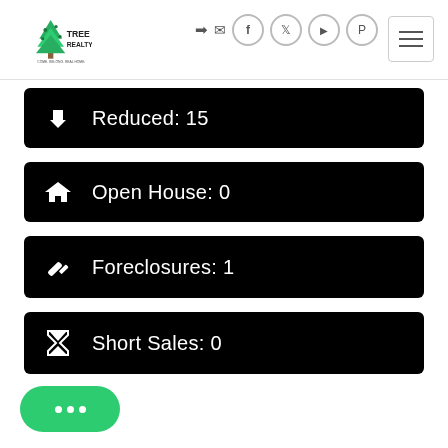[Figure (logo): Tree Realty logo with green tree and text]
Reduced: 15
Open House: 0
Foreclosures: 1
Short Sales: 0